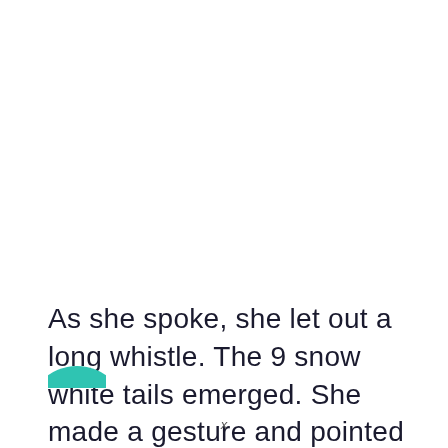As she spoke, she let out a long whistle. The 9 snow white tails emerged. She made a gesture and pointed at Liu Ming.
[Figure (illustration): Partial teal/green circle visible at bottom-left, partially cropped by page edge.]
x